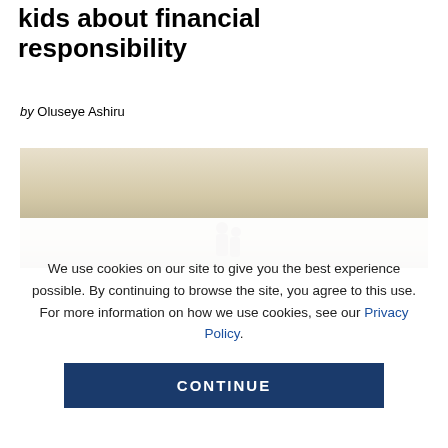kids about financial responsibility
by Oluseye Ashiru
[Figure (photo): A soft-focus photograph showing silhouetted figures against a warm, hazy beige/ivory sky background]
We use cookies on our site to give you the best experience possible. By continuing to browse the site, you agree to this use. For more information on how we use cookies, see our Privacy Policy.
CONTINUE